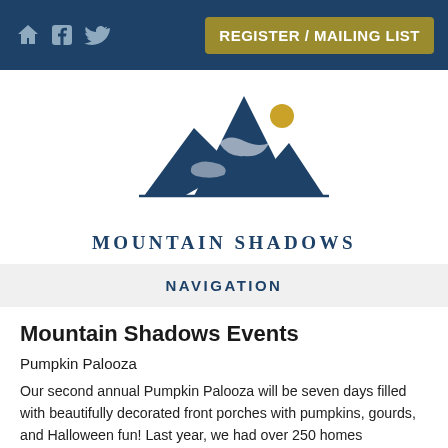REGISTER / MAILING LIST
[Figure (logo): Mountain Shadows logo: dark blue mountain peaks with a gold sun circle, text 'MOUNTAIN SHADOWS' below]
NAVIGATION
Mountain Shadows Events
Pumpkin Palooza
Our second annual Pumpkin Palooza will be seven days filled with beautifully decorated front porches with pumpkins, gourds, and Halloween fun! Last year, we had over 250 homes decorated and participated in the photo fun! Let's bring the fun back this